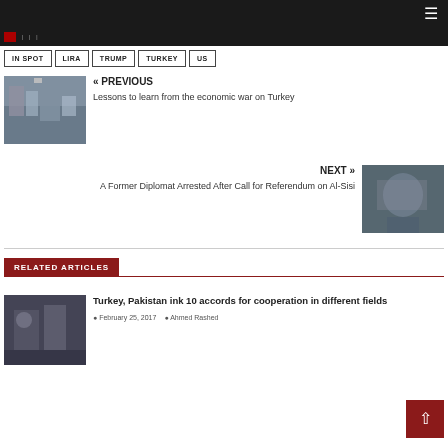Navigation bar with hamburger menu
IN SPOT
LIRA
TRUMP
TURKEY
US
« PREVIOUS
Lessons to learn from the economic war on Turkey
NEXT »
A Former Diplomat Arrested After Call for Referendum on Al-Sisi
RELATED ARTICLES
Turkey, Pakistan ink 10 accords for cooperation in different fields
February 25, 2017  Ahmed Rashed